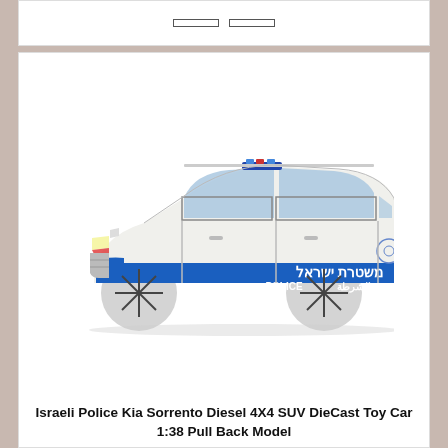[Figure (photo): Side view of an Israeli Police Kia Sorrento diecast toy car model. White body with a blue horizontal stripe. Text on the car reads 'משטרת ישראל' (Israel Police) in Hebrew, 'POLICE' in English, and 'الشرطة' in Arabic. Blue police lights on roof.]
Israeli Police Kia Sorrento Diesel 4X4 SUV DieCast Toy Car 1:38 Pull Back Model